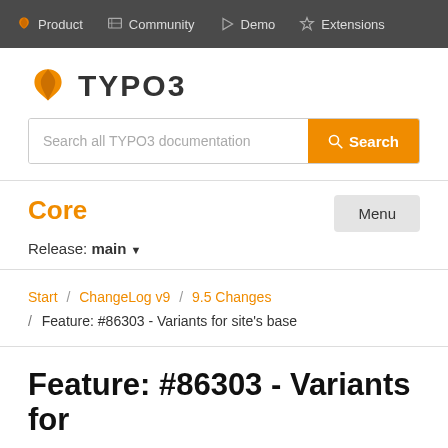Product  Community  Demo  Extensions
[Figure (logo): TYPO3 logo with orange shield icon and bold TYPO3 text]
Search all TYPO3 documentation
Core
Release: main
Start / ChangeLog v9 / 9.5 Changes / Feature: #86303 - Variants for site's base
Feature: #86303 - Variants for